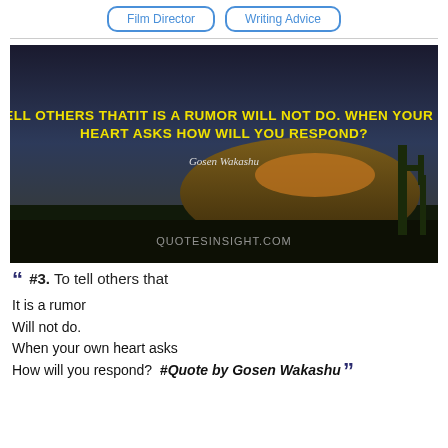Film Director | Writing Advice
[Figure (photo): Dark desert landscape at dusk with cactus and rocky hill. Overlaid yellow bold text: 'TO TELL OTHERS THAT IT IS A RUMOR WILL NOT DO. WHEN YOUR OWN HEART ASKS HOW WILL YOU RESPOND?' with cursive author name 'Gosen Wakashu' and watermark 'QUOTESINSIGHT.COM']
“ #3. To tell others that

It is a rumor
Will not do.
When your own heart asks
How will you respond? #Quote by Gosen Wakashu ”